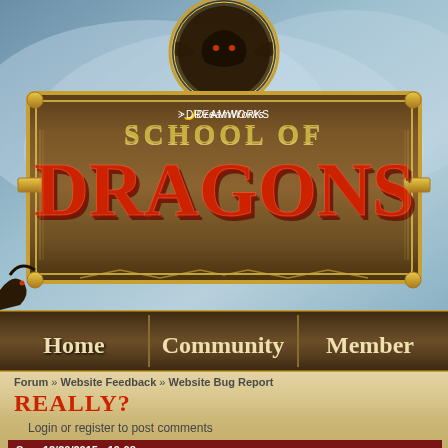[Figure (screenshot): DreamWorks School of Dragons game website logo with wooden sign frame, golden border, dragon silhouette on top]
Home | Community | Member
Forum » Website Feedback » Website Bug Report
REALLY?
Login or register to post comments
Sun, 12/20/2015 - 19:08
Ty the Dragon t    Joined: 03/03/2015